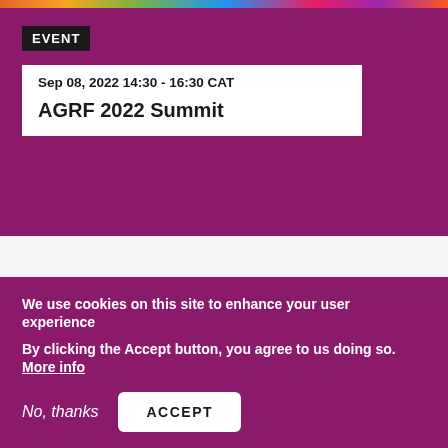[Figure (photo): Colorful banner image at the top of the page with multicolored gradient/crowd imagery]
EVENT
Sep 08, 2022 14:30 - 16:30 CAT
AGRF 2022 Summit
By research area
We use cookies on this site to enhance your user experience
By clicking the Accept button, you agree to us doing so. More info
No, thanks
ACCEPT